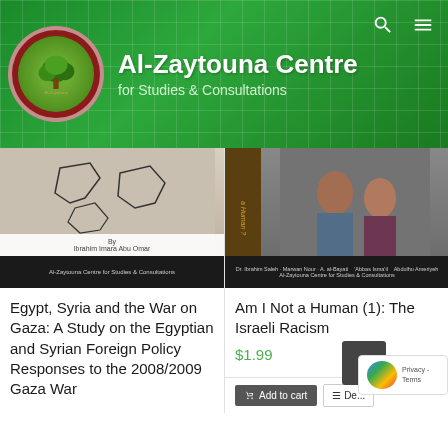[Figure (logo): Al-Zaytouna Centre logo with tree emblem in circular badge]
Al-Zaytouna Centre
for Studies & Consultations
[Figure (photo): Book cover: Egypt, Syria and the War on Gaza with map imagery]
[Figure (photo): Book cover: Am I Not a Human (1): The Israeli Racism with photo of people]
Egypt, Syria and the War on Gaza: A Study on the Egyptian and Syrian Foreign Policy Responses to the 2008/2009 Gaza War
Am I Not a Human (1): The Israeli Racism
$1.99
Add to cart
De...
Privacy - Terms